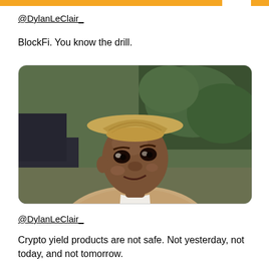@DylanLeClair_
BlockFi. You know the drill.
[Figure (photo): A young Black man wearing a straw hat and a beige blazer, looking upward with a pained or emotional expression. The background shows blurred green trees. This is a well-known meme image.]
@DylanLeClair_
Crypto yield products are not safe. Not yesterday, not today, and not tomorrow.